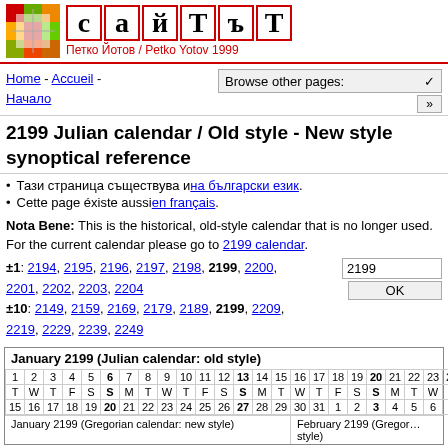сайтът — Петко Йотов / Petko Yotov 1999
2199 Julian calendar / Old style - New style synoptical reference
Тази страница съществува и на български език.
Cette page éxiste aussi en français.
Nota Bene: This is the historical, old-style calendar that is no longer used. For the current calendar please go to 2199 calendar.
±1: 2194, 2195, 2196, 2197, 2198, 2199, 2200, 2201, 2202, 2203, 2204
±10: 2149, 2159, 2169, 2179, 2189, 2199, 2209, 2219, 2229, 2239, 2249
| January 2199 (Julian calendar: old style) |
| --- |
| 1 | 2 | 3 | 4 | 5 | 6 | 7 | 8 | 9 | 10 | 11 | 12 | 13 | 14 | 15 | 16 | 17 | 18 | 19 | 20 | 21 | 22 | 23 | 24 | 25+ |
| T | W | T | F | S | S | M | T | W | T | F | S | S | M | T | W | T | F | S | S | M | T | W | T | F |
| 15 | 16 | 17 | 18 | 19 | 20 | 21 | 22 | 23 | 24 | 25 | 26 | 27 | 28 | 29 | 30 | 31 | 1 | 2 | 3 | 4 | 5 | 6 | 7 | 8+ |
| February 2199 (Julian calendar: old style) |
| --- |
| 1 | 2 | 3 | 4 | 5 | 6 | 7 | 8 | 9 | 10 | 11 | 12 | 13 | 14 | 15 | 16 | 17 | 18 | 19 | 20 | 21 | 22 | 23 | 24 | 25+ |
| T | F | S | M | T | W | T | F | S | M | T | W | T | F | S | M | T | W | T | F | S | M | T | W | T |